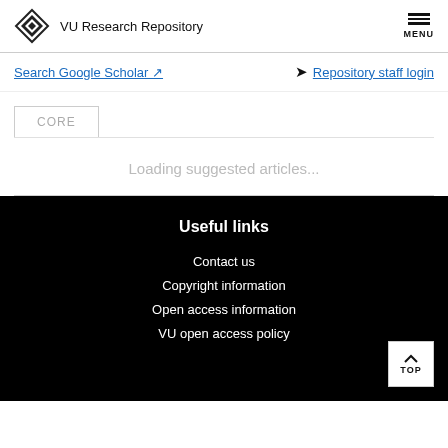VU Research Repository
Search Google Scholar
Repository staff login
CORE
Loading suggested articles...
Useful links
Contact us
Copyright information
Open access information
VU open access policy